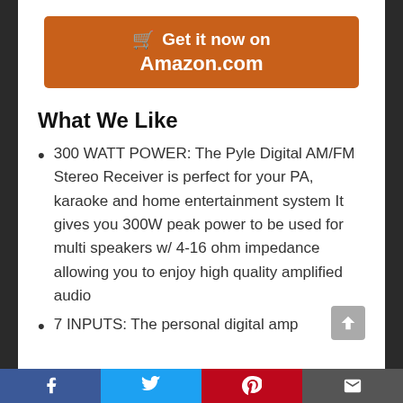[Figure (other): Orange Amazon 'Get it now on Amazon.com' button with shopping cart icon]
What We Like
300 WATT POWER: The Pyle Digital AM/FM Stereo Receiver is perfect for your PA, karaoke and home entertainment system It gives you 300W peak power to be used for multi speakers w/ 4-16 ohm impedance allowing you to enjoy high quality amplified audio
7 INPUTS: The personal digital amp
[Figure (other): Social media sharing bar with Facebook, Twitter, Pinterest, and email icons]